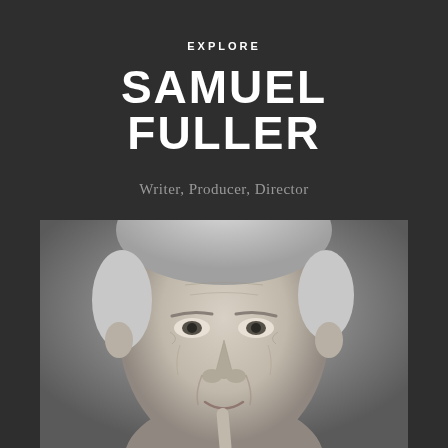EXPLORE
SAMUEL FULLER
Writer, Producer, Director
[Figure (photo): Black and white close-up portrait photograph of Samuel Fuller, an elderly man with white hair, looking at the camera with a slight smile, touching his lower lip with one finger.]